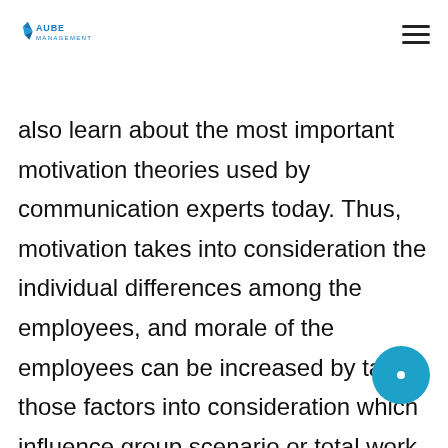AUBE MANAGEMENT
enemy. Suggested Reading: How to Write a Resume: Cover Letter Examples You will also learn about the most important motivation theories used by communication experts today. Thus, motivation takes into consideration the individual differences among the employees, and morale of the employees can be increased by taking those factors into consideration which influence group scenario or total work settings. Also, if your boss is gentle, you can explain him your realizations. Sample Motivational Email Examples. Body Language Body Language such as facial expressions...